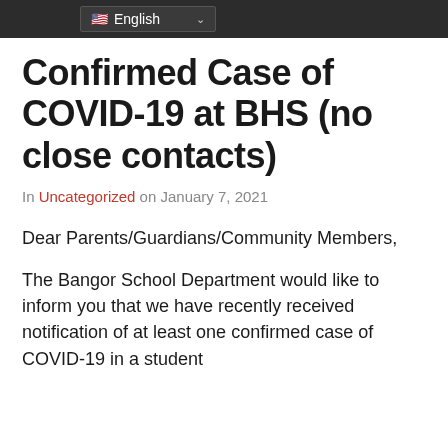English
Confirmed Case of COVID-19 at BHS (no close contacts)
In Uncategorized on January 7, 2021
Dear Parents/Guardians/Community Members,
The Bangor School Department would like to inform you that we have recently received notification of at least one confirmed case of COVID-19 in a student